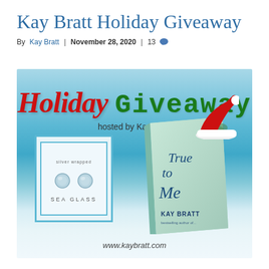Kay Bratt Holiday Giveaway
By Kay Bratt | November 28, 2020 | 13
[Figure (illustration): Holiday Giveaway promotional banner hosted by Kay Bratt, showing a sea glass earring set in a teal-bordered gift box frame and a book 'True to Me' by Kay Bratt with a Santa hat on top, against a tropical beach ocean background. Website www.kaybratt.com shown at bottom.]